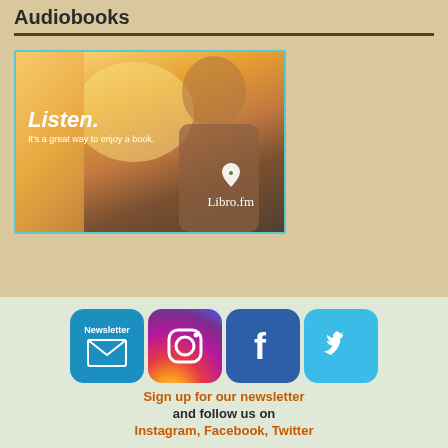Audiobooks
[Figure (photo): Libro.fm advertisement showing a person with earbuds listening to an audiobook with text 'Listen. It's a great way to enjoy a book.' and the Libro.fm logo]
[Figure (infographic): Social media icons: Newsletter, Instagram, Facebook, Twitter]
Sign up for our newsletter and follow us on Instagram, Facebook, Twitter